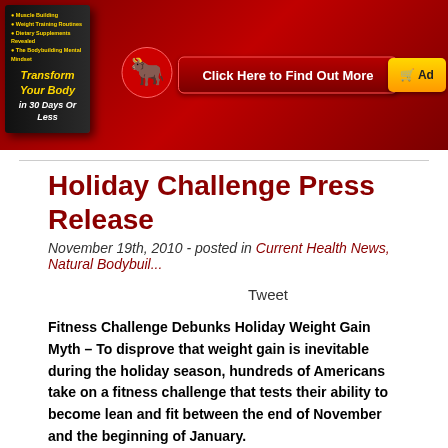[Figure (screenshot): Red banner advertisement for a bodybuilding/fitness book 'Transform Your Body in 30 Days Or Less' with a bull mascot icon, 'Click Here to Find Out More' button, and a yellow cart button.]
Holiday Challenge Press Release
November 19th, 2010 - posted in Current Health News, Natural Bodybuil...
Tweet
Fitness Challenge Debunks Holiday Weight Gain Myth – To disprove that weight gain is inevitable during the holiday season, hundreds of Americans take on a fitness challenge that tests their ability to become lean and fit between the end of November and the beginning of January.
** Press Release by Tom Venuto **
For the Holiday Challenge, a fitness contest that begins on Thanksgiving Day (November 24)